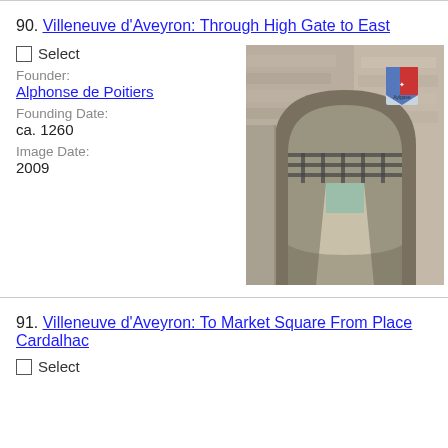90. Villeneuve d'Aveyron: Through High Gate to East
Select
Founder:
Alphonse de Poitiers
Founding Date:
ca. 1260
Image Date:
2009
[Figure (photo): Photograph of a medieval stone gate archway in Villeneuve d'Aveyron, showing the High Gate passage looking east, with a heraldic shield plaque visible on the wall, taken in 2009.]
91. Villeneuve d'Aveyron: To Market Square From Place Cardalhac
Select